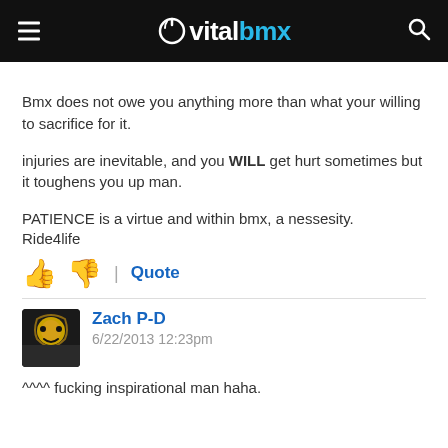vitalbmx
Bmx does not owe you anything more than what your willing to sacrifice for it.

injuries are inevitable, and you WILL get hurt sometimes but it toughens you up man.

PATIENCE is a virtue and within bmx, a nessesity.

Ride4life
Quote
Zach P-D
6/22/2013 12:23pm
^^^^ fucking inspirational man haha.